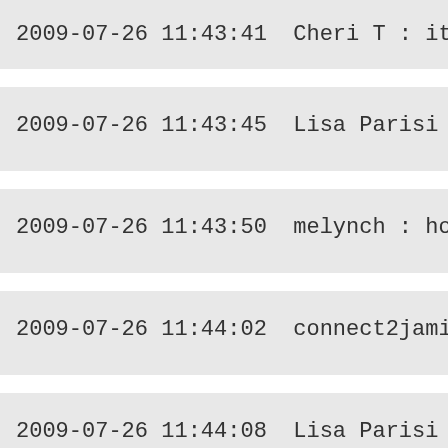2009-07-26 11:43:41  Cheri T : it brings ou
2009-07-26 11:43:45  Lisa Parisi : LOL
2009-07-26 11:43:50  melynch : how do yo
2009-07-26 11:44:02  connect2jamie : @Ch
2009-07-26 11:44:08  Lisa Parisi : Click on t
2009-07-26 11:44:16  Cheri T : @melynch -